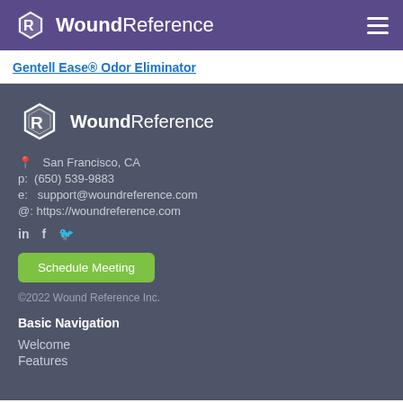WoundReference
Gentell Ease® Odor Eliminator
[Figure (logo): WoundReference logo with icon — white hexagonal R icon next to bold/regular 'WoundReference' text in white, on dark slate background]
San Francisco, CA
p: (650) 539-9883
e: support@woundreference.com
@: https://woundreference.com
Schedule Meeting
©2022 Wound Reference Inc.
Basic Navigation
Welcome
Features